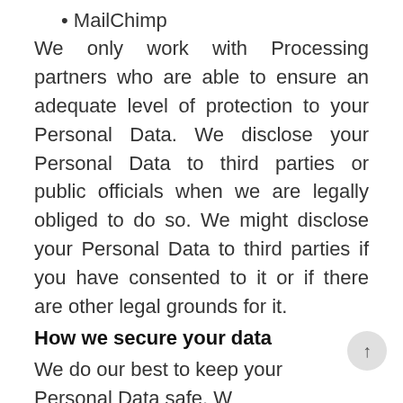• MailChimp
We only work with Processing partners who are able to ensure an adequate level of protection to your Personal Data. We disclose your Personal Data to third parties or public officials when we are legally obliged to do so. We might disclose your Personal Data to third parties if you have consented to it or if there are other legal grounds for it.
How we secure your data
We do our best to keep your Personal Data safe. We...